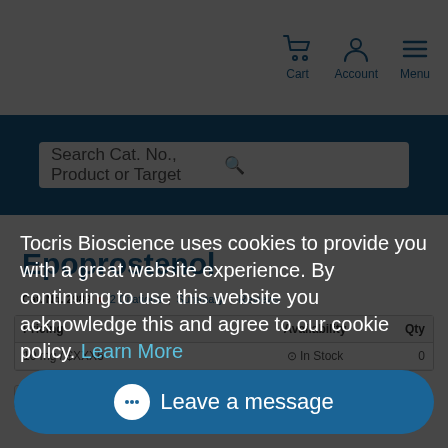[Figure (screenshot): Navigation bar with Cart, Account, and Menu icons in blue on white background]
[Figure (screenshot): Blue search bar strip with white search box reading 'Search Cat. No., Product or Target']
Epoprostenol
Cat. No. 2989  2 Citations  Summary  Reviews
| Pricing | Availability | Qty |
| --- | --- | --- |
| 10 mg / $XXX6 | In Stock | 0 |
Print Qu...
Tocris Bioscience uses cookies to provide you with a great website experience. By continuing to use this website you acknowledge this and agree to our cookie policy. Learn More
I Agree
Leave a message